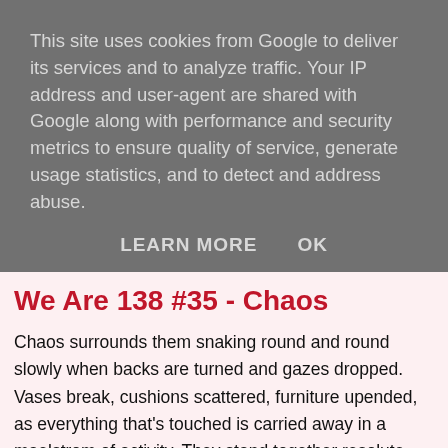This site uses cookies from Google to deliver its services and to analyze traffic. Your IP address and user-agent are shared with Google along with performance and security metrics to ensure quality of service, generate usage statistics, and to detect and address abuse.
LEARN MORE   OK
We Are 138 #35 - Chaos
Chaos surrounds them snaking round and round slowly when backs are turned and gazes dropped. Vases break, cushions scattered, furniture upended, as everything that's touched is carried away in a maelstrom of activity. They stand together resolute, determined to face things together, knowing what will befall them if they fail. Focusing despite the distractions they work mechanically through a list of impossible tasks, knowing that everything depends on completion, understanding that the likelihood of success is improbable. Chaos fades away for a brief moments respite and they cling together embracing each other, softly whispering endearments, encouraging words, willing